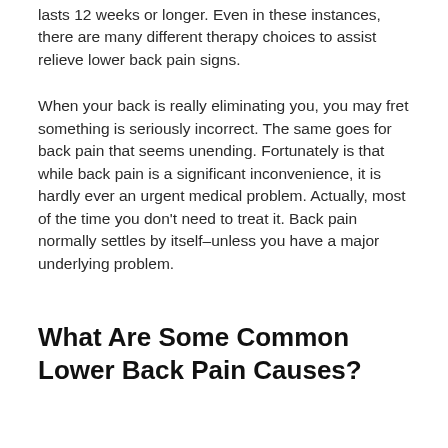lasts 12 weeks or longer. Even in these instances, there are many different therapy choices to assist relieve lower back pain signs.
When your back is really eliminating you, you may fret something is seriously incorrect. The same goes for back pain that seems unending. Fortunately is that while back pain is a significant inconvenience, it is hardly ever an urgent medical problem. Actually, most of the time you don't need to treat it. Back pain normally settles by itself–unless you have a major underlying problem.
What Are Some Common Lower Back Pain Causes?